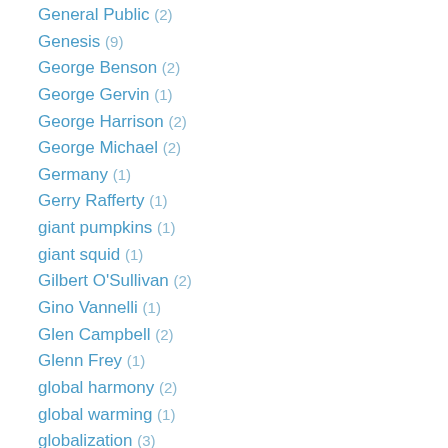General Public (2)
Genesis (9)
George Benson (2)
George Gervin (1)
George Harrison (2)
George Michael (2)
Germany (1)
Gerry Rafferty (1)
giant pumpkins (1)
giant squid (1)
Gilbert O'Sullivan (2)
Gino Vannelli (1)
Glen Campbell (2)
Glenn Frey (1)
global harmony (2)
global warming (1)
globalization (3)
gnomes (2)
Godley & Creme (2)
Godzilla (2)